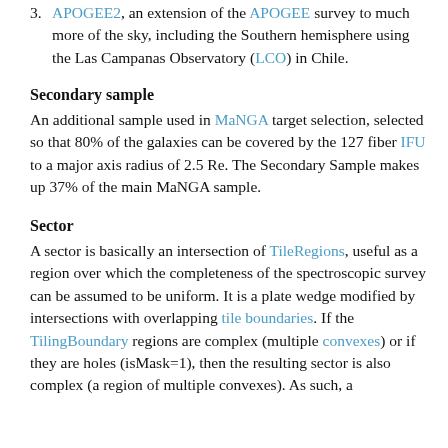3. APOGEE2, an extension of the APOGEE survey to much more of the sky, including the Southern hemisphere using the Las Campanas Observatory (LCO) in Chile.
Secondary sample
An additional sample used in MaNGA target selection, selected so that 80% of the galaxies can be covered by the 127 fiber IFU to a major axis radius of 2.5 Re. The Secondary Sample makes up 37% of the main MaNGA sample.
Sector
A sector is basically an intersection of TileRegions, useful as a region over which the completeness of the spectroscopic survey can be assumed to be uniform. It is a plate wedge modified by intersections with overlapping tile boundaries. If the TilingBoundary regions are complex (multiple convexes) or if they are holes (isMask=1), then the resulting sector is also complex (a region of multiple convexes). As such, a